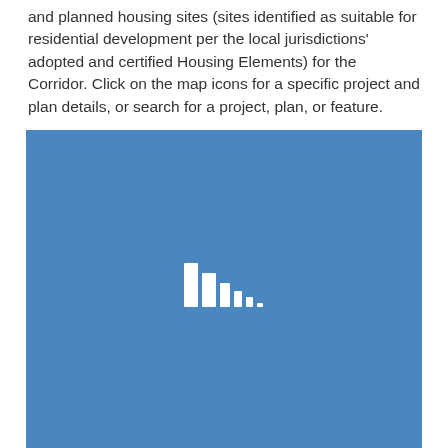and planned housing sites (sites identified as suitable for residential development per the local jurisdictions' adopted and certified Housing Elements) for the Corridor. Click on the map icons for a specific project and plan details, or search for a project, plan, or feature.
[Figure (map): Blue map loading area with a white loading spinner icon (bar chart style loading indicator) centered on a solid blue background, representing an interactive map that is loading.]